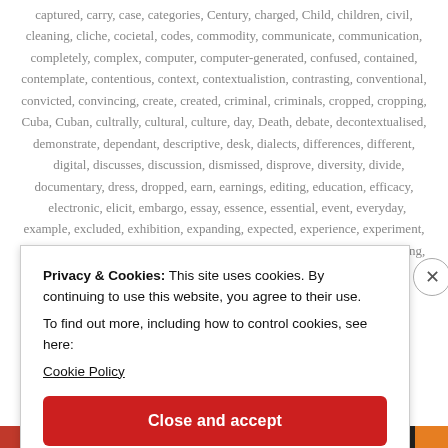captured, carry, case, categories, Century, charged, Child, children, civil, cleaning, cliche, cocietal, codes, commodity, communicate, communication, completely, complex, computer, computer-generated, confused, contained, contemplate, contentious, context, contextualistion, contrasting, conventional, convicted, convincing, create, created, criminal, criminals, cropped, cropping, Cuba, Cuban, cultrally, cultural, culture, day, Death, debate, decontextualised, demonstrate, dependant, descriptive, desk, dialects, differences, different, digital, discusses, discussion, dismissed, disprove, diversity, divide, documentary, dress, dropped, earn, earnings, editing, education, efficacy, electronic, elicit, embargo, essay, essence, essential, event, everyday, example, excluded, exhibition, expanding, expected, experience, experiment, Exploitation, expression, extremely, eye, face, fact, factor, facts, fake, falling, famous, feelings, fiction, fictions, fictitious, Fifty, find, found, future, gale
Privacy & Cookies: This site uses cookies. By continuing to use this website, you agree to their use.
To find out more, including how to control cookies, see here:
Cookie Policy
Close and accept